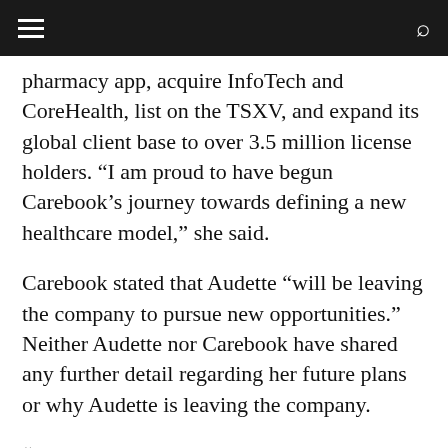pharmacy app, acquire InfoTech and CoreHealth, list on the TSXV, and expand its global client base to over 3.5 million license holders. “I am proud to have begun Carebook’s journey towards defining a new healthcare model,” she said.
Carebook stated that Audette “will be leaving the company to pursue new opportunities.” Neither Audette nor Carebook have shared any further detail regarding her future plans or why Audette is leaving the company.
“It is critical to recognize how much Carebook has achieved under [Audette’s] guidance,” said